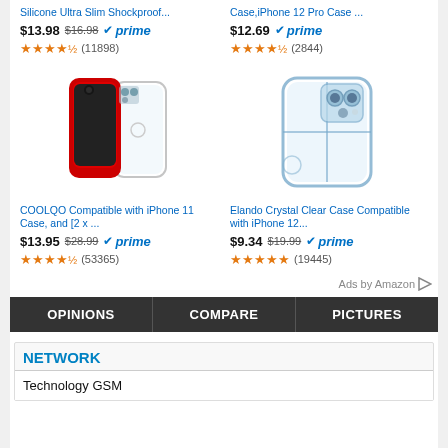Silicone Ultra Slim Shockproof...
Case,iPhone 12 Pro Case ...
$13.98 $16.98 prime ★★★★☆ (11898)
$12.69 prime ★★★★☆ (2844)
[Figure (photo): Red iPhone 11 with clear case shown from front and back angles]
[Figure (photo): Clear crystal case for iPhone 12, viewed from back]
COOLQO Compatible with iPhone 11 Case, and [2 x ...
Elando Crystal Clear Case Compatible with iPhone 12...
$13.95 $28.99 prime ★★★★☆ (53365)
$9.34 $19.99 prime ★★★★★ (19445)
Ads by Amazon
| OPINIONS | COMPARE | PICTURES |
| --- | --- | --- |
NETWORK
Technology GSM